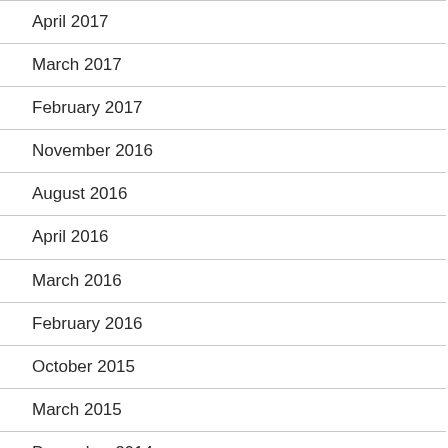April 2017
March 2017
February 2017
November 2016
August 2016
April 2016
March 2016
February 2016
October 2015
March 2015
December 2014